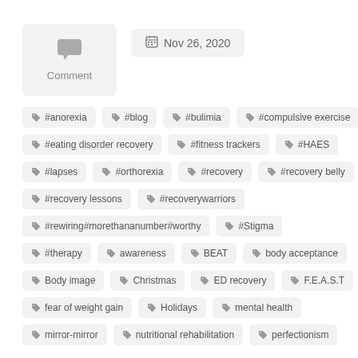[Figure (other): Comment icon box with speech bubble icon and label 'Comment']
Nov 26, 2020
#anorexia
#blog
#bulimia
#compulsive exercise
#eating disorder recovery
#fitness trackers
#HAES
#lapses
#orthorexia
#recovery
#recovery belly
#recovery lessons
#recoverywarriors
#rewiring#morethananumber#worthy
#Stigma
#therapy
awareness
BEAT
body acceptance
Body image
Christmas
ED recovery
F.E.A.S.T
fear of weight gain
Holidays
mental health
mirror-mirror
nutritional rehabilitation
perfectionism